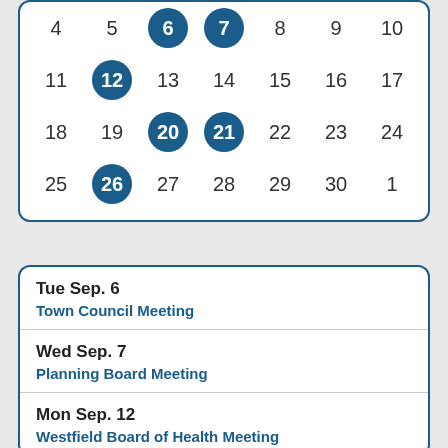[Figure (other): Partial calendar grid showing dates 4–10 (top row, partially cropped), 11–17, 18–24, 25–1, with highlighted circle dates: 6, 7, 12, 20, 21, 26]
Tue Sep. 6
Town Council Meeting
Wed Sep. 7
Planning Board Meeting
Mon Sep. 12
Westfield Board of Health Meeting